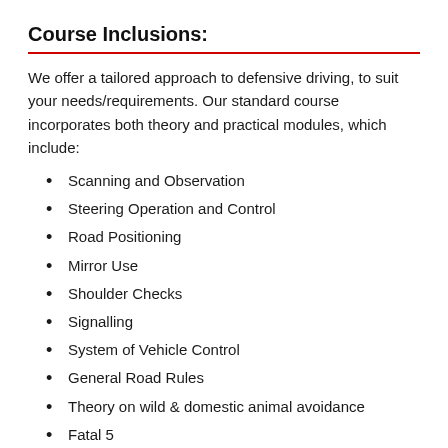Course Inclusions:
We offer a tailored approach to defensive driving, to suit your needs/requirements. Our standard course incorporates both theory and practical modules, which include:
Scanning and Observation
Steering Operation and Control
Road Positioning
Mirror Use
Shoulder Checks
Signalling
System of Vehicle Control
General Road Rules
Theory on wild & domestic animal avoidance
Fatal 5
Distraction avoidance (INC mobile phone use)